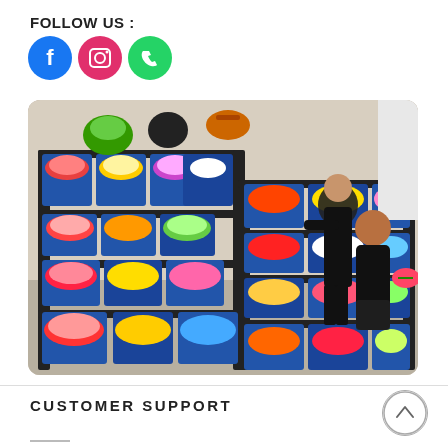FOLLOW US :
[Figure (infographic): Three social media icons: Facebook (blue circle with f), Instagram (pink/red circle with camera icon), WhatsApp/Phone (green circle with phone icon)]
[Figure (photo): A flower shop interior showing tiered black metal display shelves filled with colorful artificial flower bouquets in blue trays. Two people dressed in black are visible among the displays. Various floral arrangements and hats are visible on upper shelves.]
CUSTOMER SUPPORT